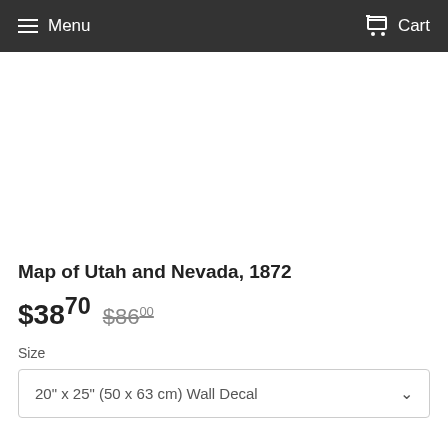Menu  Cart
[Figure (other): White empty product image area]
Map of Utah and Nevada, 1872
$38.70  $86.00
Size
20" x 25" (50 x 63 cm) Wall Decal